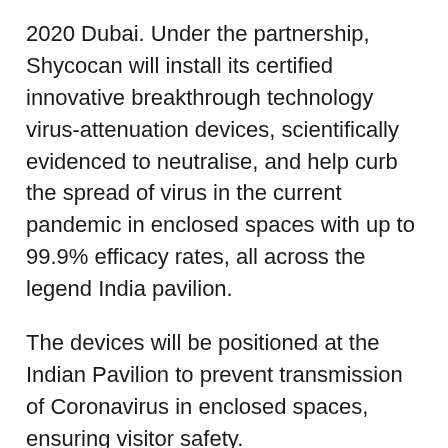2020 Dubai. Under the partnership, Shycocan will install its certified innovative breakthrough technology virus-attenuation devices, scientifically evidenced to neutralise, and help curb the spread of virus in the current pandemic in enclosed spaces with up to 99.9% efficacy rates, all across the legend India pavilion.
The devices will be positioned at the Indian Pavilion to prevent transmission of Coronavirus in enclosed spaces, ensuring visitor safety.
The cylindrical device when mounted has an effective coverage area of 1,000 square feet. Its innovative technology when activated produces high-intensity photons that are safe for humans, animals, and the environment. The photons emanate negatively charged electrons as they strike surfaces in the area and neutralize the entire family of both surface and air-borne Coronavirus. The device works on all current and future